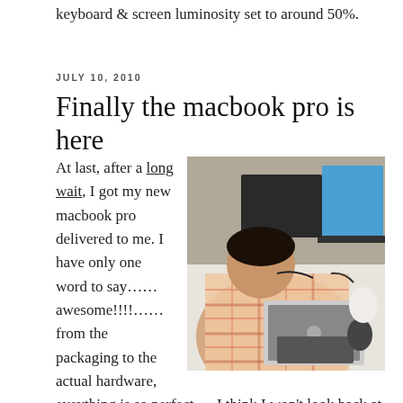keyboard & screen luminosity set to around 50%.
JULY 10, 2010
Finally the macbook pro is here
[Figure (photo): Person leaning over a desk examining a MacBook Pro laptop, with monitors, keyboard, and computer peripherals visible on the desk.]
At last, after a long wait, I got my new macbook pro delivered to me. I have only one word to say……awesome!!!!……from the packaging to the actual hardware, eveything is so perfect…..I think I won't look back at any other laptops now after using macbook…..hats off to Steve Jobs. The moment I saw the mail to pick-up my mac, I was jumping with joy 😀 . I took some pics starting from unpacking the box to powering it on for the first time…my friend even shot a video of it 😀 …I was really